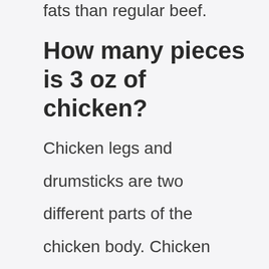fats than regular beef.
How many pieces is 3 oz of chicken?
Chicken legs and drumsticks are two different parts of the chicken body. Chicken legs are the lower part of the leg. It contains the thigh bone, knee joint, and ankle joint. Drumsticks are the upper